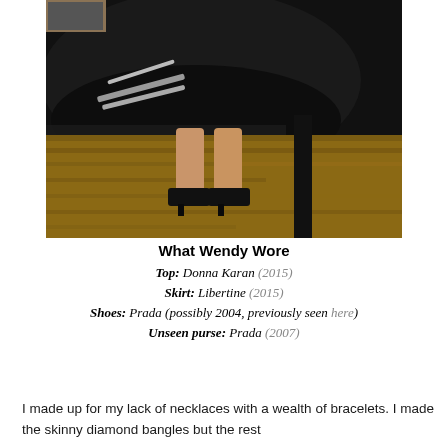[Figure (photo): Photo showing lower half of a person wearing a black layered skirt with silver star/stripe embellishments and black heels, standing on a wooden floor]
What Wendy Wore
Top: Donna Karan (2015)
Skirt: Libertine (2015)
Shoes: Prada (possibly 2004, previously seen here)
Unseen purse: Prada (2007)
I made up for my lack of necklaces with a wealth of bracelets. I made the skinny diamond bangles but the rest